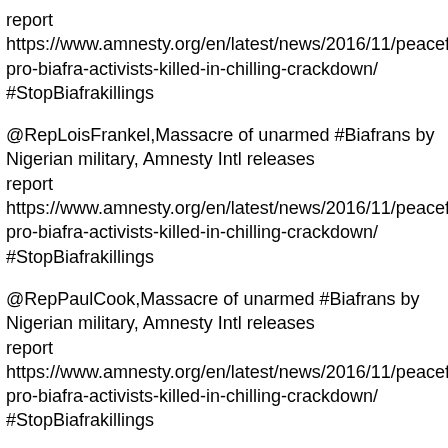report  https://www.amnesty.org/en/latest/news/2016/11/peaceful-pro-biafra-activists-killed-in-chilling-crackdown/ #StopBiafrakillings
@RepLoisFrankel,Massacre of unarmed #Biafrans by Nigerian military, Amnesty Intl releases report  https://www.amnesty.org/en/latest/news/2016/11/peaceful-pro-biafra-activists-killed-in-chilling-crackdown/ #StopBiafrakillings
@RepPaulCook,Massacre of unarmed #Biafrans by Nigerian military, Amnesty Intl releases report  https://www.amnesty.org/en/latest/news/2016/11/peaceful-pro-biafra-activists-killed-in-chilling-crackdown/ #StopBiafrakillings
@RepVeasey,Massacre of unarmed #Biafrans by Nigerian military, Amnesty Intl releases report  https://www.amnesty.org/en/latest/news/2016/11/peaceful-pro-